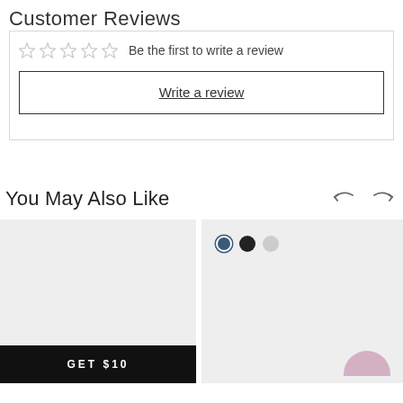Customer Reviews
Be the first to write a review
Write a review
You May Also Like
[Figure (screenshot): Two product cards side by side. Left card is a grey placeholder with a black 'GET $10' button at the bottom. Right card shows color swatches (blue, black, light grey dots) and a pink/mauve rounded shape at the bottom right.]
[Figure (infographic): Navigation arrows (back and forward) for the carousel]